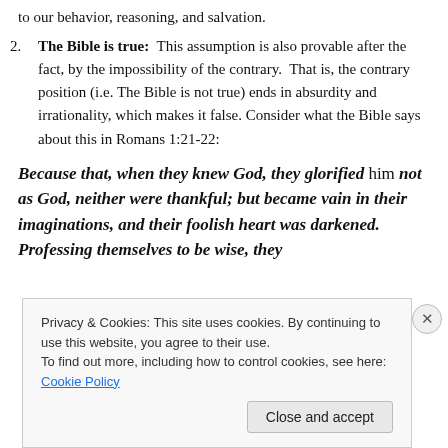to our behavior, reasoning, and salvation.
The Bible is true: This assumption is also provable after the fact, by the impossibility of the contrary. That is, the contrary position (i.e. The Bible is not true) ends in absurdity and irrationality, which makes it false. Consider what the Bible says about this in Romans 1:21-22:
Because that, when they knew God, they glorified him not as God, neither were thankful; but became vain in their imaginations, and their foolish heart was darkened. Professing themselves to be wise, they
Privacy & Cookies: This site uses cookies. By continuing to use this website, you agree to their use.
To find out more, including how to control cookies, see here: Cookie Policy